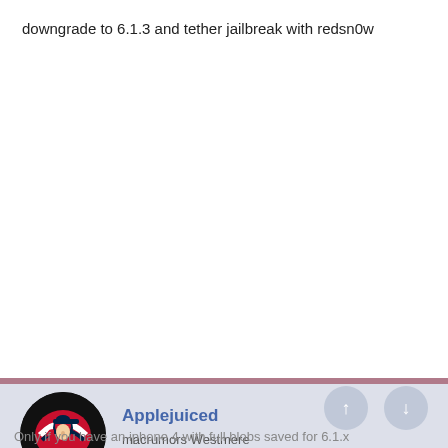downgrade to 6.1.3 and tether jailbreak with redsn0w
[Figure (illustration): Forum post layout with user avatar (New England Patriots logo on black circle), username Applejuiced, role macrumors Westmere, post date Jun 18, 2013, post number #6, quoted text from Baklava asking about downgrading from iOS 7 DP1 to 6.1.x, and a reply starting with 'Only if you have an iphone 4 with full blobs saved for 6.1.x']